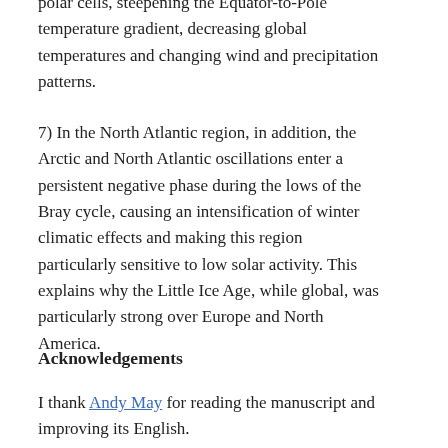polar cells, steepening the Equator-to-Pole temperature gradient, decreasing global temperatures and changing wind and precipitation patterns.
7) In the North Atlantic region, in addition, the Arctic and North Atlantic oscillations enter a persistent negative phase during the lows of the Bray cycle, causing an intensification of winter climatic effects and making this region particularly sensitive to low solar activity. This explains why the Little Ice Age, while global, was particularly strong over Europe and North America.
Acknowledgements
I thank Andy May for reading the manuscript and improving its English.